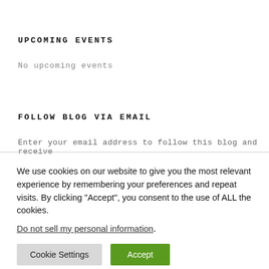UPCOMING EVENTS
No upcoming events
FOLLOW BLOG VIA EMAIL
Enter your email address to follow this blog and receive
We use cookies on our website to give you the most relevant experience by remembering your preferences and repeat visits. By clicking “Accept”, you consent to the use of ALL the cookies.
Do not sell my personal information.
Cookie Settings
Accept